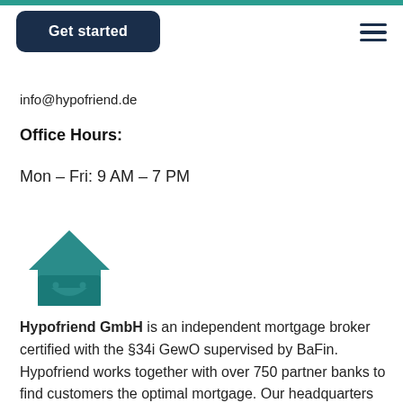[Figure (illustration): Get started button (dark navy rounded rectangle with white bold text) and hamburger menu icon (three dark navy horizontal lines)]
info@hypofriend.de
Office Hours:
Mon – Fri: 9 AM – 7 PM
[Figure (logo): Hypofriend house logo: teal house silhouette with a smiley face envelope inside]
Hypofriend GmbH is an independent mortgage broker certified with the §34i GewO supervised by BaFin. Hypofriend works together with over 750 partner banks to find customers the optimal mortgage. Our headquarters is in Berlin, Germany.